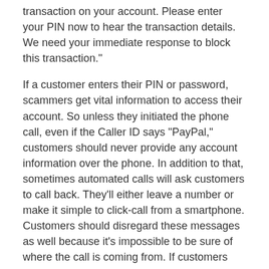transaction on your account. Please enter your PIN now to hear the transaction details. We need your immediate response to block this transaction."
If a customer enters their PIN or password, scammers get vital information to access their account. So unless they initiated the phone call, even if the Caller ID says “PayPal,” customers should never provide any account information over the phone. In addition to that, sometimes automated calls will ask customers to call back. They’ll either leave a number or make it simple to click-call from a smartphone. Customers should disregard these messages as well because it’s impossible to be sure of where the call is coming from. If customers ever need to contact us, they should visit the Contact Us link on any PayPal page for our real phone number.